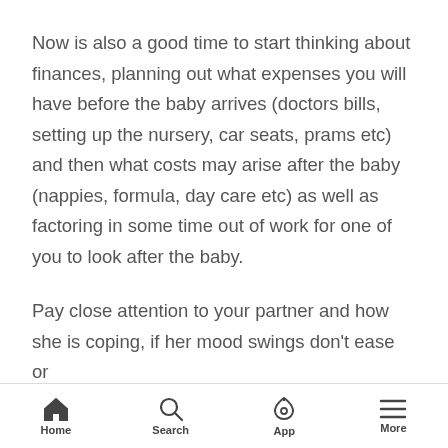Now is also a good time to start thinking about finances, planning out what expenses you will have before the baby arrives (doctors bills, setting up the nursery, car seats, prams etc) and then what costs may arise after the baby (nappies, formula, day care etc) as well as factoring in some time out of work for one of you to look after the baby.
Pay close attention to your partner and how she is coping, if her mood swings don't ease or
Home   Search   App   More